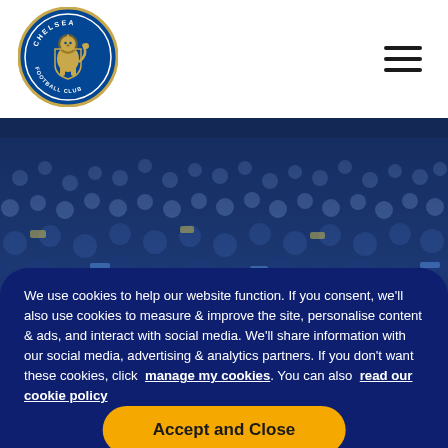[Figure (logo): Chelsea Football Club circular crest logo in blue and white with lion emblem]
[Figure (photo): Stadium crowd photo with fans in stands, dark blue toned, blurred background]
We use cookies to help our website function. If you consent, we'll also use cookies to measure & improve the site, personalise content & ads, and interact with social media. We'll share information with our social media, advertising & analytics partners. If you don't want these cookies, click  manage my cookies. You can also  read our cookie policy
[Figure (other): Yellow/gold rounded button labeled 'Accept and Close']